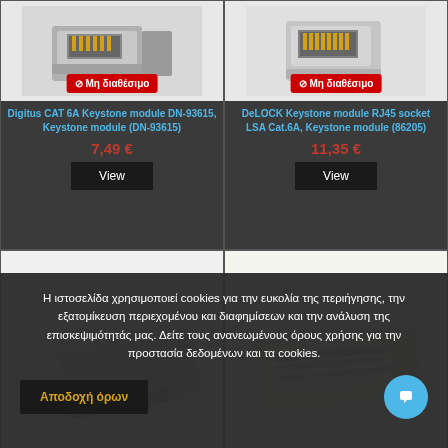[Figure (photo): Digitus CAT 6A Keystone module DN-93615 product photo with 'Μη διαθέσιμο' (unavailable) badge]
Digitus CAT 6A Keystone module DN-93615, Keystone module (DN-93615)
7,49 €
View
[Figure (photo): DeLOCK Keystone module RJ45 socket LSA Cat.6A product photo with 'Μη διαθέσιμο' (unavailable) badge]
DeLOCK Keystone module RJ45 socket LSA Cat.6A, Keystone module (86205)
11,35 €
View
[Figure (photo): Bottom left product photo (partially visible, gray device with green connector)]
[Figure (photo): Bottom right product photo (partially visible, white/gray device with labels)]
Η ιστοσελίδα χρησιμοποιεί cookies για την ευκολία της περιήγησης, την εξατομίκευση περιεχομένου και διαφημίσεων και την ανάλυση της επισκεψιμότητάς μας. Δείτε τους ανανεωμένους όρους χρήσης για την προστασία δεδομένων και τα cookies.
Αποδοχή όρων